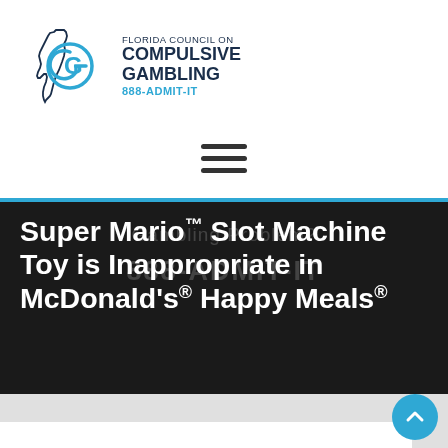[Figure (logo): Florida Council on Compulsive Gambling logo with stylized G in a circle and Florida state outline, text reads FLORIDA COUNCIL ON COMPULSIVE GAMBLING 888-ADMIT-IT]
[Figure (other): Hamburger menu icon (three horizontal lines)]
Super Mario™ Slot Machine Toy is Inappropriate in McDonald's® Happy Meals®